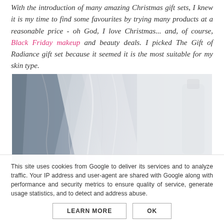With the introduction of many amazing Christmas gift sets, I knew it is my time to find some favourites by trying many products at a reasonable price - oh God, I love Christmas... and, of course, Black Friday makeup and beauty deals. I picked The Gift of Radiance gift set because it seemed it is the most suitable for my skin type.
[Figure (photo): Close-up photo of sheer white and grey fabric/tulle draped softly, with light and shadow creating abstract texture.]
This site uses cookies from Google to deliver its services and to analyze traffic. Your IP address and user-agent are shared with Google along with performance and security metrics to ensure quality of service, generate usage statistics, and to detect and address abuse.